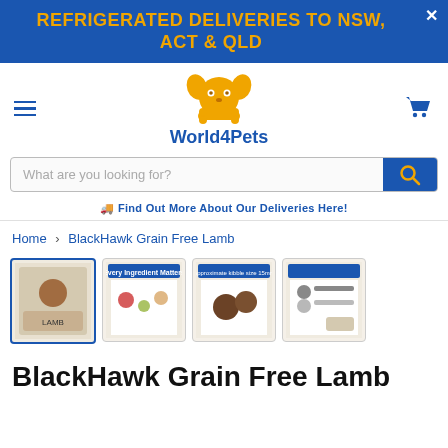REFRIGERATED DELIVERIES TO NSW, ACT & QLD
[Figure (logo): World4Pets logo with cartoon dog face and bone, orange/gold color, with blue text World4Pets below]
Find Out More About Our Deliveries Here!
Home > BlackHawk Grain Free Lamb
[Figure (photo): Four product thumbnail images of BlackHawk Grain Free Lamb dog food packaging]
BlackHawk Grain Free Lamb